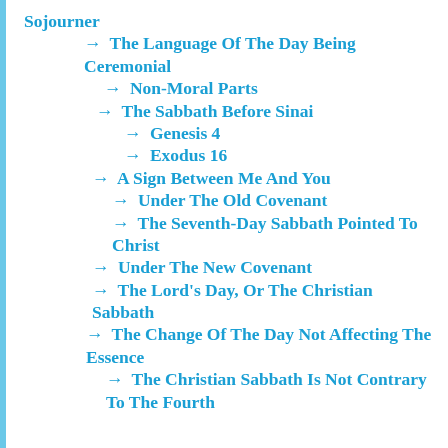Sojourner
→ The Language Of The Day Being Ceremonial
→ Non-Moral Parts
→ The Sabbath Before Sinai
→ Genesis 4
→ Exodus 16
→ A Sign Between Me And You
→ Under The Old Covenant
→ The Seventh-Day Sabbath Pointed To Christ
→ Under The New Covenant
→ The Lord's Day, Or The Christian Sabbath
→ The Change Of The Day Not Affecting The Essence
→ The Christian Sabbath Is Not Contrary To The Fourth